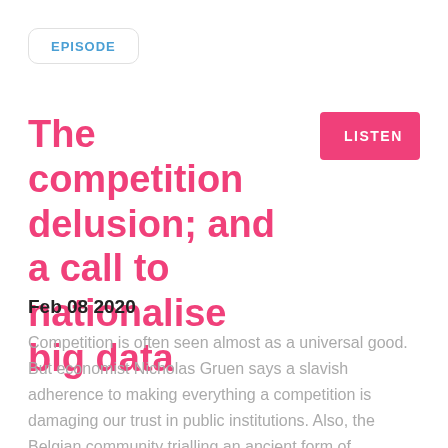EPISODE
The competition delusion; and a call to nationalise big data
LISTEN
Feb 08 2020
Competition is often seen almost as a universal good. But economist Nicholas Gruen says a slavish adherence to making everything a competition is damaging our trust in public institutions. Also, the Belgian community trialling an ancient form of democracy. And if big data is made collectively, would nationalising it help to ensure the benefits are widely